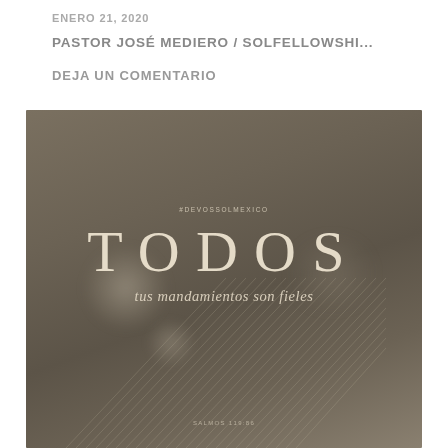ENERO 21, 2020
PASTOR JOSÉ MEDIERO / SOLFELLOWSHI...
DEJA UN COMENTARIO
[Figure (illustration): Dark olive/taupe toned devotional graphic with large serif text reading 'TODOS' in spaced-out letters, italic subtitle 'tus mandamientos son fieles', hashtag '#DEVOSSOLMEXICO' above title, scripture reference 'SALMOS 119:86' at bottom, with blurred bokeh light effects and diagonal line textures in background]